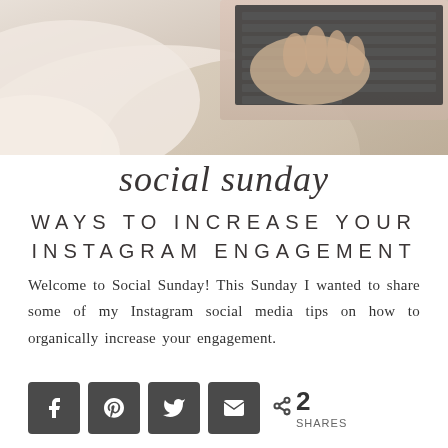[Figure (photo): Top-down photo of a person in light/cream clothing using a laptop computer, showing hands on keyboard and the laptop's rose-gold body]
social sunday
WAYS TO INCREASE YOUR INSTAGRAM ENGAGEMENT
Welcome to Social Sunday! This Sunday I wanted to share some of my Instagram social media tips on how to organically increase your engagement.
< 2 SHARES [social share buttons: Facebook, Pinterest, Twitter, Email]